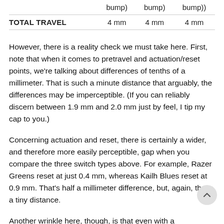|  | bump) | bump) | bump)) |
| --- | --- | --- | --- |
| TOTAL TRAVEL | 4 mm | 4 mm | 4 mm |
However, there is a reality check we must take here. First, note that when it comes to pretravel and actuation/reset points, we're talking about differences of tenths of a millimeter. That is such a minute distance that arguably, the differences may be imperceptible. (If you can reliably discern between 1.9 mm and 2.0 mm just by feel, I tip my cap to you.)
Concerning actuation and reset, there is certainly a wider, and therefore more easily perceptible, gap when you compare the three switch types above. For example, Razer Greens reset at just 0.4 mm, whereas Kailh Blues reset at 0.9 mm. That's half a millimeter difference, but, again, that's a tiny distance.
Another wrinkle here, though, is that even with a